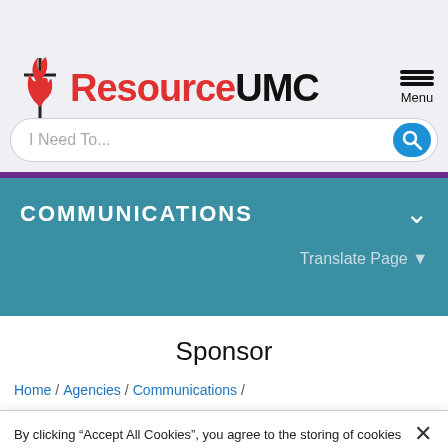[Figure (logo): ResourceUMC logo with UMC flame cross icon and red/black wordmark]
I Need To...
COMMUNICATIONS
Translate Page ▼
Sponsor
Home / Agencies / Communications /
By clicking "Accept All Cookies", you agree to the storing of cookies on your device to enhance site navigation, analyze site usage, and assist in our marketing efforts.  Cookie policy